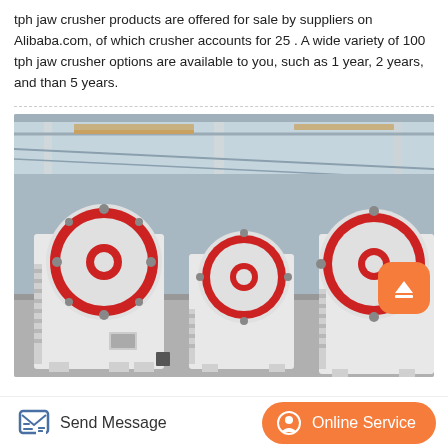tph jaw crusher products are offered for sale by suppliers on Alibaba.com, of which crusher accounts for 25 . A wide variety of 100 tph jaw crusher options are available to you, such as 1 year, 2 years, and than 5 years.
[Figure (photo): Industrial warehouse interior showing three white jaw crusher machines with red and white flywheel discs, arranged in a row on a concrete floor. The machines have large circular flywheels with red centers and bolts. Background shows the warehouse ceiling structure with beams and pillars.]
Send Message   Online Service